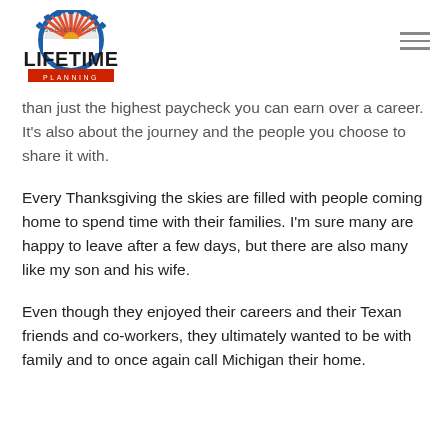[Figure (logo): Society for Lifetime Planning logo — semicircular gear/sunburst shape in blue and red above the text 'LIFETIME' in large letters with 'SOCIETY FOR' above and 'PLANNING' on a red bar below]
than just the highest paycheck you can earn over a career. It's also about the journey and the people you choose to share it with.
Every Thanksgiving the skies are filled with people coming home to spend time with their families. I'm sure many are happy to leave after a few days, but there are also many like my son and his wife.
Even though they enjoyed their careers and their Texan friends and co-workers, they ultimately wanted to be with family and to once again call Michigan their home.